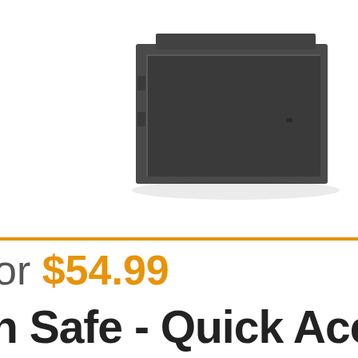[Figure (photo): Dark grey/charcoal gun safe or lockbox, shown from a slightly elevated front angle, rectangular shape with a recessed panel door. Cropped at the top of the page, visible against a white background.]
or $54.99
n Safe - Quick Acc